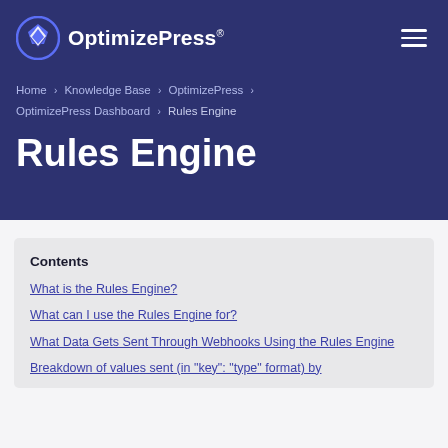OptimizePress
Home › Knowledge Base › OptimizePress › OptimizePress Dashboard › Rules Engine
Rules Engine
Contents
What is the Rules Engine?
What can I use the Rules Engine for?
What Data Gets Sent Through Webhooks Using the Rules Engine
Breakdown of values sent (in "key": "type" format) by